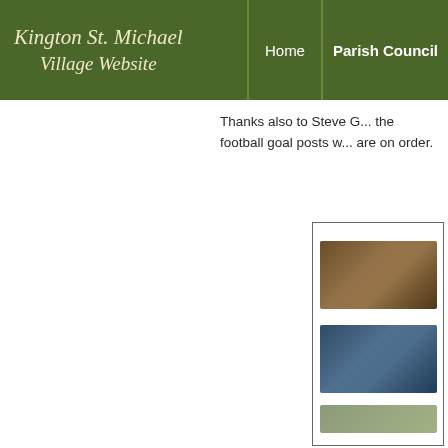Kington St. Michael Village Website | Home | Parish Council
Thanks also to Steve G... the football goal posts w... are on order.
[Figure (photo): A panel with two small photographs, one showing a brown/earth-toned outdoor scene and another showing a blue-toned scene, partially visible at the right edge of the page.]